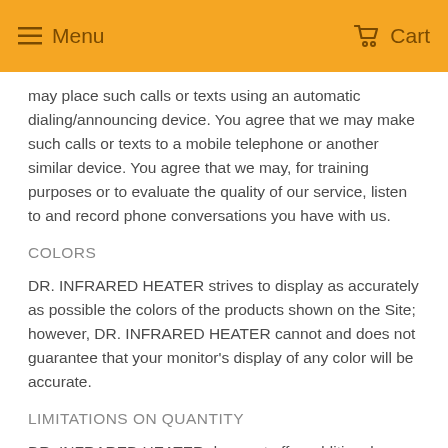Menu  Cart
may place such calls or texts using an automatic dialing/announcing device. You agree that we may make such calls or texts to a mobile telephone or another similar device. You agree that we may, for training purposes or to evaluate the quality of our service, listen to and record phone conversations you have with us.
COLORS
DR. INFRARED HEATER strives to display as accurately as possible the colors of the products shown on the Site; however, DR. INFRARED HEATER cannot and does not guarantee that your monitor's display of any color will be accurate.
LIMITATIONS ON QUANTITY
DR. INFRARED HEATER does not offer additional discounts on large orders of a single item or on large orders of many individual items. In addition, we reserve the right to limit quantities on orders placed